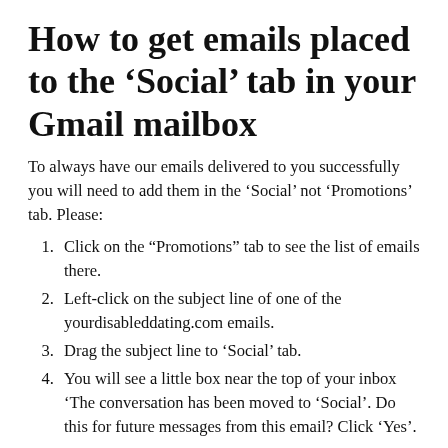How to get emails placed to the ‘Social’ tab in your Gmail mailbox
To always have our emails delivered to you successfully you will need to add them in the ‘Social’ not ‘Promotions’ tab. Please:
Click on the “Promotions” tab to see the list of emails there.
Left-click on the subject line of one of the yourdisableddating.com emails.
Drag the subject line to ‘Social’ tab.
You will see a little box near the top of your inbox ‘The conversation has been moved to ‘Social’. Do this for future messages from this email? Click ‘Yes’.